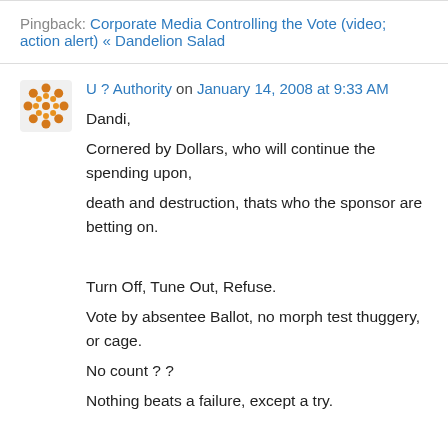Pingback: Corporate Media Controlling the Vote (video; action alert) « Dandelion Salad
U ? Authority on January 14, 2008 at 9:33 AM
Dandi,
Cornered by Dollars, who will continue the spending upon,
death and destruction, thats who the sponsor are betting on.

Turn Off, Tune Out, Refuse.
Vote by absentee Ballot, no morph test thuggery, or cage.
No count ? ?
Nothing beats a failure, except a try.